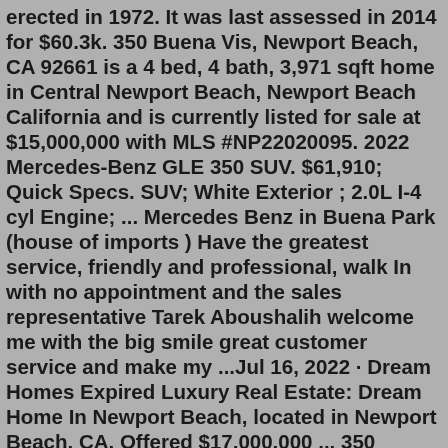erected in 1972. It was last assessed in 2014 for $60.3k. 350 Buena Vis, Newport Beach, CA 92661 is a 4 bed, 4 bath, 3,971 sqft home in Central Newport Beach, Newport Beach California and is currently listed for sale at $15,000,000 with MLS #NP22020095. 2022 Mercedes-Benz GLE 350 SUV. $61,910; Quick Specs. SUV; White Exterior ; 2.0L I-4 cyl Engine; ... Mercedes Benz in Buena Park (house of imports ) Have the greatest service, friendly and professional, walk In with no appointment and the sales representative Tarek Aboushalih welcome me with the big smile great customer service and make my ...Jul 16, 2022 · Dream Homes Expired Luxury Real Estate: Dream Home In Newport Beach, located in Newport Beach, CA. Offered $17,000,000 ... 350 Buena Vista Blvd, Newport Beach, CA 92661 © 2022 Berkshire Hathaway HomeServices California Properties (BHHSCP) is a member of the franchise system of BHH Affiliates LLC. BHHS and the BHHS symbol are ...This is a capacious two-story single-family possession, which is situated at 350 Buena Vis